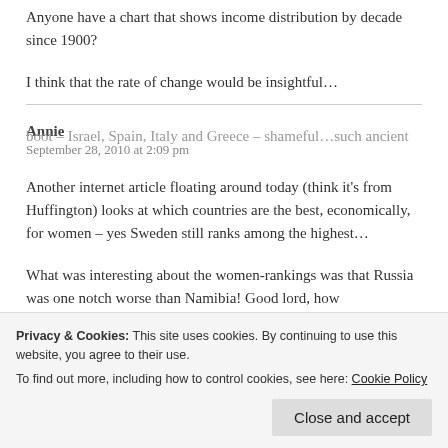Anyone have a chart that shows income distribution by decade since 1900?
I think that the rate of change would be insightful…
Annie
September 28, 2010 at 2:09 pm
Another internet article floating around today (think it's from Huffington) looks at which countries are the best, economically, for women – yes Sweden still ranks among the highest…
What was interesting about the women-rankings was that Russia was one notch worse than Namibia! Good lord, how
Privacy & Cookies: This site uses cookies. By continuing to use this website, you agree to their use. To find out more, including how to control cookies, see here: Cookie Policy
boot – Israel, Spain, Italy and Greece – shameful…such ancient